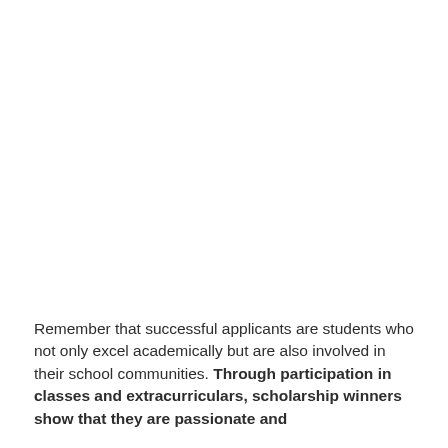Remember that successful applicants are students who not only excel academically but are also involved in their school communities. Through participation in classes and extracurriculars, scholarship winners show that they are passionate and